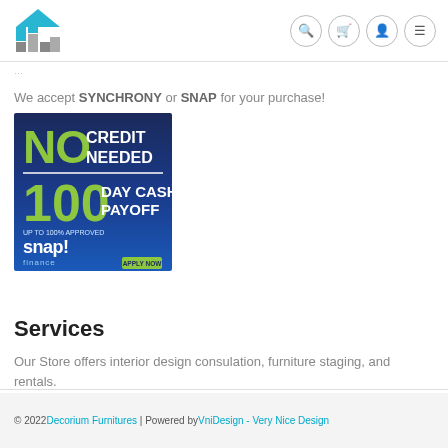Decorium Furnitures logo and navigation icons
We accept SYNCHRONY or SNAP for your purchase!
[Figure (illustration): Snap Finance advertisement banner: NO CREDIT NEEDED, 100 DAY CASH PAYOFF, up to 100% approved, snap! finance, APPLY NOW]
Services
Our Store offers interior design consulation, furniture staging, and rentals.
© 2022 Decorium Furnitures | Powered by VniDesign - Very Nice Design